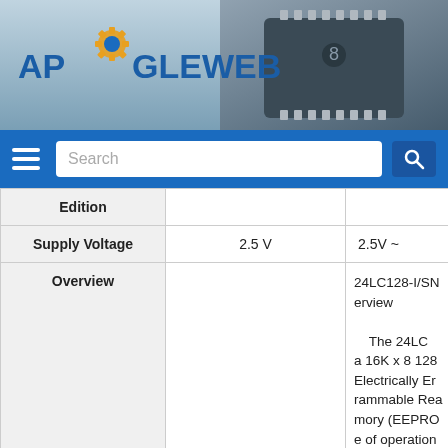[Figure (screenshot): Apogee Web website header with logo on left and a microchip/IC photograph on the right against a grey-blue gradient background]
[Figure (screenshot): Blue navigation bar with hamburger menu icon, search box with placeholder text 'Search', and search button with magnifying glass icon]
|  |  |  |
| --- | --- | --- |
| Edition |  |  |
| Supply Voltage | 2.5 V | 2.5V ~ |
| Overview |  | 24LC128-I/SN
erview

The 24LC
a 16K x 8 128
Electrically Er
rammable Rea
mory (EEPRO
e of operation
oad voltage ra
5.5V). It has b |